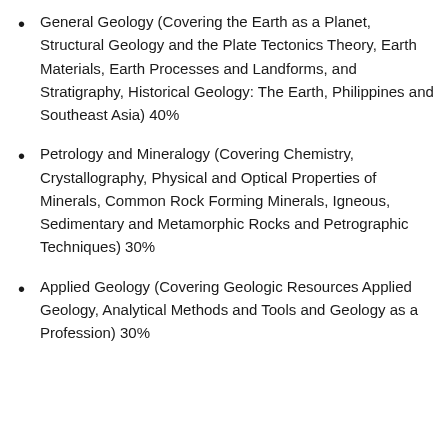General Geology (Covering the Earth as a Planet, Structural Geology and the Plate Tectonics Theory, Earth Materials, Earth Processes and Landforms, and Stratigraphy, Historical Geology: The Earth, Philippines and Southeast Asia) 40%
Petrology and Mineralogy (Covering Chemistry, Crystallography, Physical and Optical Properties of Minerals, Common Rock Forming Minerals, Igneous, Sedimentary and Metamorphic Rocks and Petrographic Techniques) 30%
Applied Geology (Covering Geologic Resources Applied Geology, Analytical Methods and Tools and Geology as a Profession) 30%